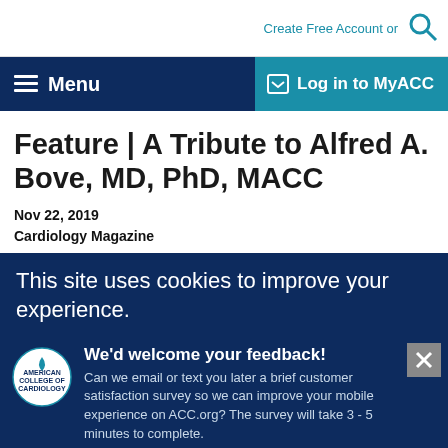Create Free Account or
Menu  Log in to MyACC
Feature | A Tribute to Alfred A. Bove, MD, PhD, MACC
Nov 22, 2019
Cardiology Magazine
This site uses cookies to improve your experience.
We'd welcome your feedback! Can we email or text you later a brief customer satisfaction survey so we can improve your mobile experience on ACC.org? The survey will take 3 - 5 minutes to complete.